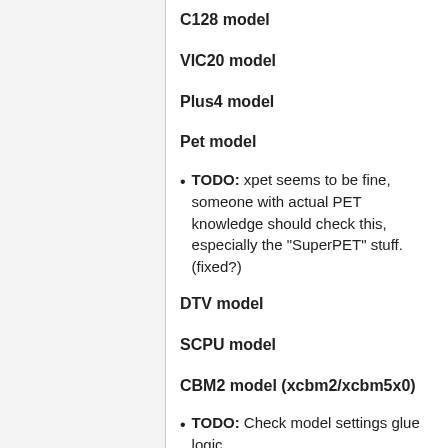C128 model
VIC20 model
Plus4 model
Pet model
TODO: xpet seems to be fine, someone with actual PET knowledge should check this, especially the "SuperPET" stuff. (fixed?)
DTV model
SCPU model
CBM2 model (xcbm2/xcbm5x0)
TODO: Check model settings glue logic.
Mostly works, the 50/60Hz switch is a problem. I'll need someone with some actual CBM-II